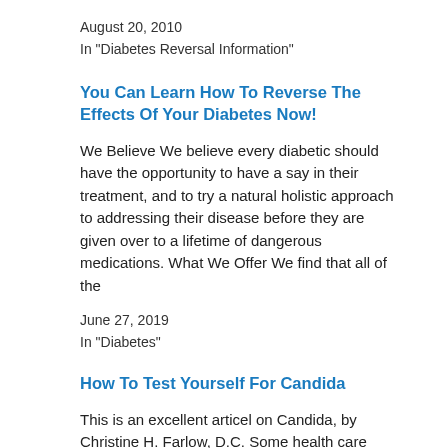August 20, 2010
In "Diabetes Reversal Information"
You Can Learn How To Reverse The Effects Of Your Diabetes Now!
We Believe We believe every diabetic should have the opportunity to have a say in their treatment, and to try a natural holistic approach to addressing their disease before they are given over to a lifetime of dangerous medications. What We Offer We find that all of the
June 27, 2019
In "Diabetes"
How To Test Yourself For Candida
This is an excellent articel on Candida, by Christine H. Farlow, D.C. Some health care professionals believe that candida infects 89% of the US population. Many Americans don't realize that candidiasis is caused by the overuse and abuse of antibiotics, steroids, NSAIDs and